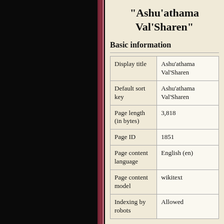"Ashu'athama Val'Sharen"
Basic information
|  |  |
| --- | --- |
| Display title | Ashu'athama Val'Sharen |
| Default sort key | Ashu'athama Val'Sharen |
| Page length (in bytes) | 3,818 |
| Page ID | 1851 |
| Page content language | English (en) |
| Page content model | wikitext |
| Indexing by robots | Allowed |